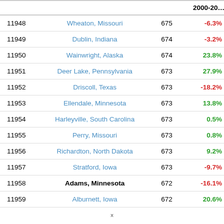| Rank | Name | Population | 2000-20xx |
| --- | --- | --- | --- |
| 11948 | Wheaton, Missouri | 675 | -6.3% |
| 11949 | Dublin, Indiana | 674 | -3.2% |
| 11950 | Wainwright, Alaska | 674 | 23.8% |
| 11951 | Deer Lake, Pennsylvania | 673 | 27.9% |
| 11952 | Driscoll, Texas | 673 | -18.2% |
| 11953 | Ellendale, Minnesota | 673 | 13.8% |
| 11954 | Harleyville, South Carolina | 673 | 0.5% |
| 11955 | Perry, Missouri | 673 | 0.8% |
| 11956 | Richardton, North Dakota | 673 | 9.2% |
| 11957 | Stratford, Iowa | 673 | -9.7% |
| 11958 | Adams, Minnesota | 672 | -16.1% |
| 11959 | Alburnett, Iowa | 672 | 20.6% |